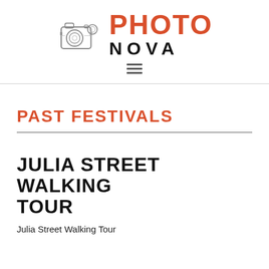[Figure (logo): Photo Nova logo with vintage camera illustration on left and PHOTO in red bold uppercase letters and NOVA in black spaced uppercase letters on right]
PAST FESTIVALS
JULIA STREET WALKING TOUR
Julia Street Walking Tour